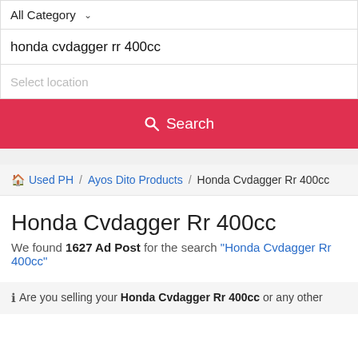All Category
honda cvdagger rr 400cc
Select location
Search
Used PH / Ayos Dito Products / Honda Cvdagger Rr 400cc
Honda Cvdagger Rr 400cc
We found 1627 Ad Post for the search "Honda Cvdagger Rr 400cc"
Are you selling your Honda Cvdagger Rr 400cc or any other